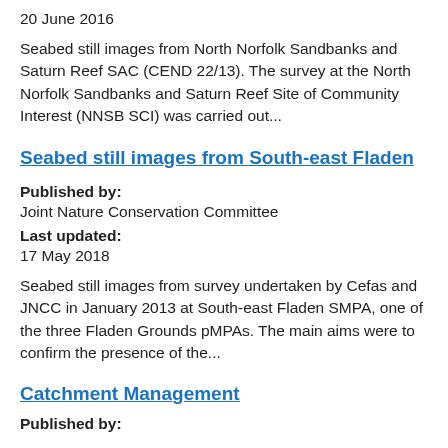20 June 2016
Seabed still images from North Norfolk Sandbanks and Saturn Reef SAC (CEND 22/13). The survey at the North Norfolk Sandbanks and Saturn Reef Site of Community Interest (NNSB SCI) was carried out...
Seabed still images from South-east Fladen
Published by:
Joint Nature Conservation Committee
Last updated:
17 May 2018
Seabed still images from survey undertaken by Cefas and JNCC in January 2013 at South-east Fladen SMPA, one of the three Fladen Grounds pMPAs. The main aims were to confirm the presence of the...
Catchment Management
Published by: